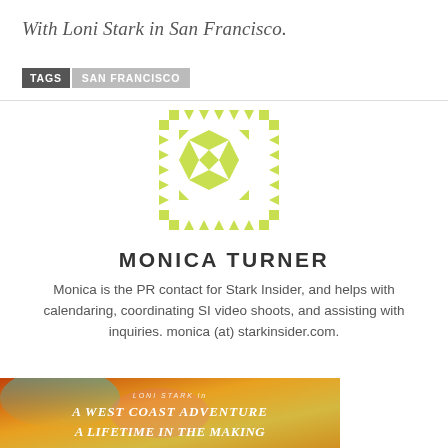With Loni Stark in San Francisco.
TAGS  SAN FRANCISCO
[Figure (logo): Monica Turner author avatar — a square logo made of light yellow-green geometric triangle and diamond shapes arranged in a decorative pattern]
MONICA TURNER
Monica is the PR contact for Stark Insider, and helps with calendaring, coordinating SI video shoots, and assisting with inquiries. monica (at) starkinsider.com.
[Figure (photo): Colorful promotional image with text: LONI STARK in A WEST COAST ADVENTURE A LIFETIME IN THE MAKING]